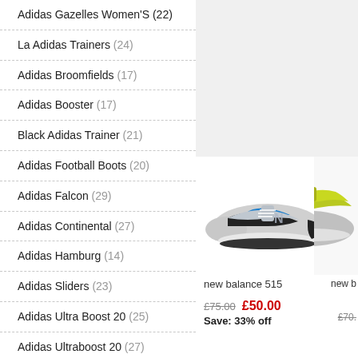Adidas Gazelles Women's (22)
La Adidas Trainers (24)
Adidas Broomfields (17)
Adidas Booster (17)
Black Adidas Trainer (21)
Adidas Football Boots (20)
Adidas Falcon (29)
Adidas Continental (27)
Adidas Hamburg (14)
Adidas Sliders (23)
Adidas Ultra Boost 20 (25)
Adidas Ultraboost 20 (27)
Adidas Cloudfoam (22)
Adidas Forest Hills (17)
Adidas High Tops (17)
Adidas Nmd R1 (22)
[Figure (photo): New Balance 515 trainer shoe in grey, black and blue colourway]
new balance 515
£75.00  £50.00  Save: 33% off